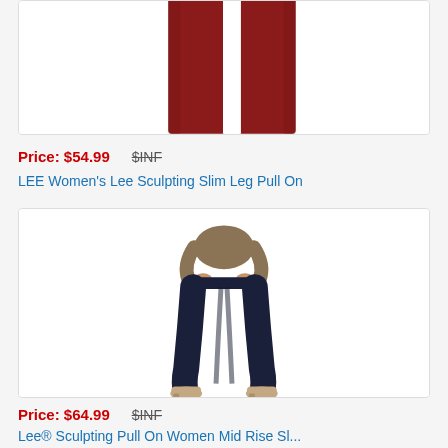[Figure (photo): Product image: red/burgundy women's pants (cropped, showing lower half) on white background — top portion of first product card]
Price: $54.99   $INF
LEE Women's Lee Sculpting Slim Leg Pull On
[Figure (photo): Product image: woman wearing dark navy/indigo slim leg jeans with beige booties, hands at waistband, full body shot on white background]
Price: $64.99   $INF
Lee® Sculpting Pull On Women Mid Rise Sl...